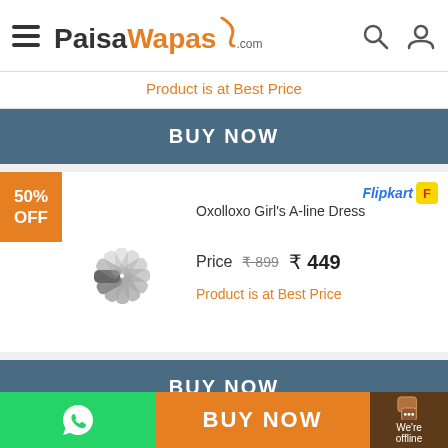PaisaWapas.com
Product is at Best Price
BUY NOW
50% OFF
Oxolloxo Girl's A-line Dress
Price ₹899 ₹449
Product is at Best Price
BUY NOW
50% OFF
BUY NOW
We're offline